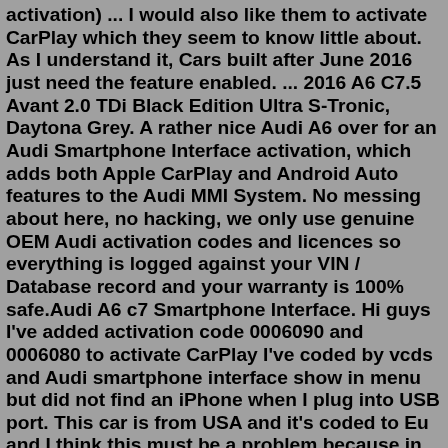activation) ... I would also like them to activate CarPlay which they seem to know little about. As I understand it, Cars built after June 2016 just need the feature enabled. ... 2016 A6 C7.5 Avant 2.0 TDi Black Edition Ultra S-Tronic, Daytona Grey. A rather nice Audi A6 over for an Audi Smartphone Interface activation, which adds both Apple CarPlay and Android Auto features to the Audi MMI System. No messing about here, no hacking, we only use genuine OEM Audi activation codes and licences so everything is logged against your VIN / Database record and your warranty is 100% safe.Audi A6 c7 Smartphone Interface. Hi guys I've added activation code 0006090 and 0006080 to activate CarPlay I've coded by vcds and Audi smartphone interface show in menu but did not find an iPhone when I plug into USB port. This car is from USA and it's coded to Eu and I think this must be a problem because in European car I can do it ...Audi Flat Bottom Steering Wheel for Audi A4/ A5 B9/B9.5, A6/A7 C8, Q2, Q3, Q5,Q7, A3. S$999. Audi Flat Bottom Steering wheel. Leather Airbag with